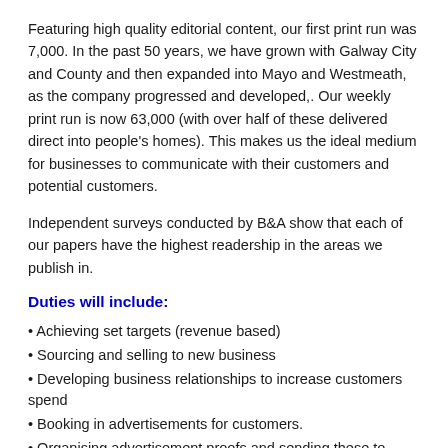Featuring high quality editorial content, our first print run was 7,000. In the past 50 years, we have grown with Galway City and County and then expanded into Mayo and Westmeath, as the company progressed and developed,. Our weekly print run is now 63,000 (with over half of these delivered direct into people's homes). This makes us the ideal medium for businesses to communicate with their customers and potential customers.
Independent surveys conducted by B&A show that each of our papers have the highest readership in the areas we publish in.
Duties will include:
Achieving set targets (revenue based)
Sourcing and selling to new business
Developing business relationships to increase customers spend
Booking in advertisements for customers.
Organising advertisement proofs and sending these to customers.
Contacting customers for features/sections with the intention